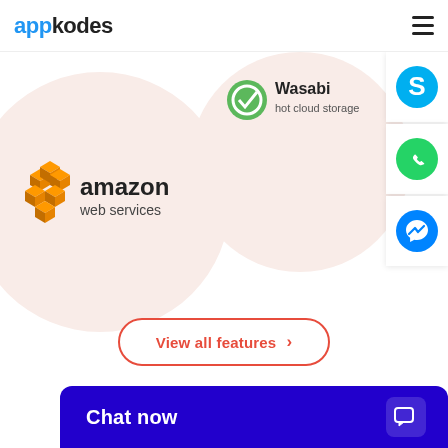appkodes
[Figure (logo): Amazon Web Services logo inside a pink circle — orange cube-cluster icon with 'amazon web services' text]
[Figure (logo): Wasabi hot cloud storage logo inside a pink circle — green circular icon with 'Wasabi hot cloud storage' text]
[Figure (logo): Skype icon — blue circle with white S letter]
[Figure (logo): WhatsApp icon — green circle with white phone handset]
[Figure (logo): Facebook Messenger icon — blue circle with white lightning bolt chat bubble]
View all features >
Chat now